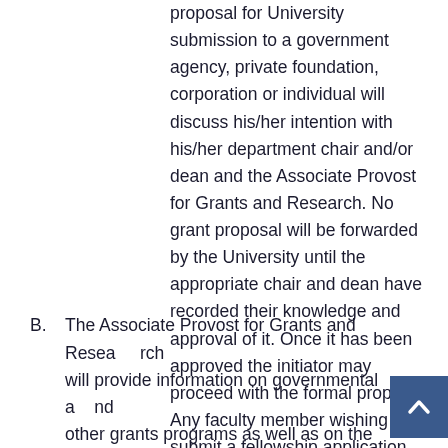proposal for University submission to a government agency, private foundation, corporation or individual will discuss his/her intention with his/her department chair and/or dean and the Associate Provost for Grants and Research. No grant proposal will be forwarded by the University until the appropriate chair and dean have recorded their knowledge and approval of it. Once it has been approved the initiator may proceed with the formal proposal. Any faculty member wishing to submit a fellowship application should notify his/her academic department as soon as funding becomes probable.
B. The Associate Provost for Grants and Research will provide information on governmental and other grants programs as well as on the